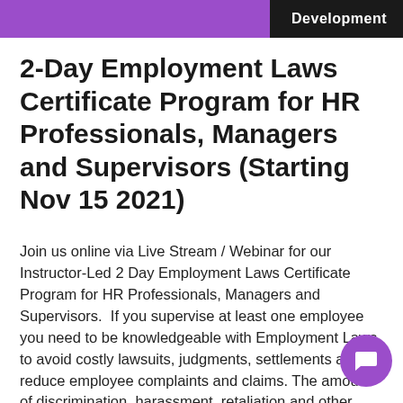Development
2-Day Employment Laws Certificate Program for HR Professionals, Managers and Supervisors (Starting Nov 15 2021)
Join us online via Live Stream / Webinar for our Instructor-Led 2 Day Employment Laws Certificate Program for HR Professionals, Managers and Supervisors.  If you supervise at least one employee you need to be knowledgeable with Employment Laws to avoid costly lawsuits, judgments, settlements and to reduce employee complaints and claims. The amount of discrimination, harassment, retaliation and other claims filed with the EEOC and the Department of Labor continu… rise every year. Now more than ever, HR Professionals, managers and supervisors need to understand and be familiar with employment laws